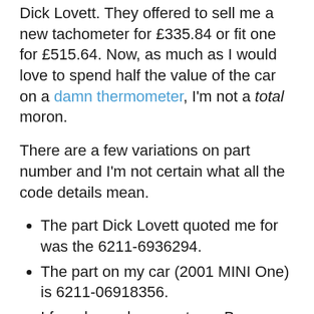Dick Lovett. They offered to sell me a new tachometer for £335.84 or fit one for £515.64. Now, as much as I would love to spend half the value of the car on a damn thermometer, I'm not a total moron.
There are a few variations on part number and I'm not certain what all the code details mean.
The part Dick Lovett quoted me for was the 6211-6936294.
The part on my car (2001 MINI One) is 6211-06918356.
I found a replacement on eBay, number 6211-6924924, and the vehicle parts seller assured me it would be compatible: "As long as you are using this to replace a